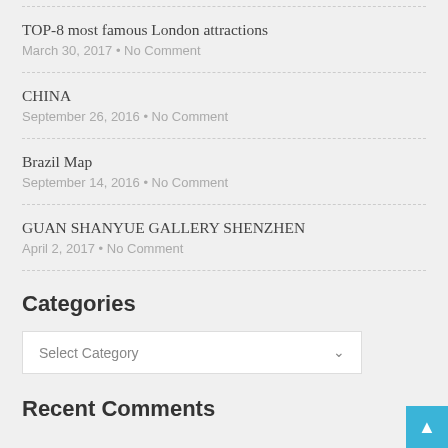TOP-8 most famous London attractions
March 30, 2017 • No Comment
CHINA
September 26, 2016 • No Comment
Brazil Map
September 14, 2016 • No Comment
GUAN SHANYUE GALLERY SHENZHEN
April 2, 2017 • No Comment
Categories
Select Category
Recent Comments